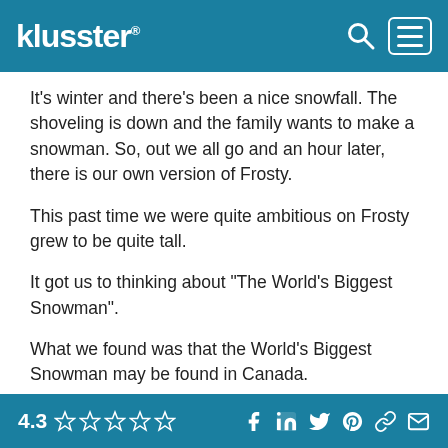klusster®
It's winter and there's been a nice snowfall. The shoveling is down and the family wants to make a snowman. So, out we all go and an hour later, there is our own version of Frosty.
This past time we were quite ambitious on Frosty grew to be quite tall.
It got us to thinking about "The World's Biggest Snowman".
What we found was that the World's Biggest Snowman may be found in Canada.
The place is Beardmore, Ontario - up north near
4.3 ☆☆☆☆☆